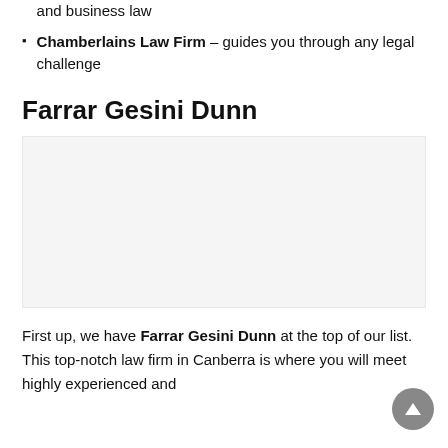and business law
Chamberlains Law Firm – guides you through any legal challenge
Farrar Gesini Dunn
[Figure (photo): Light gray placeholder image box for Farrar Gesini Dunn]
First up, we have Farrar Gesini Dunn at the top of our list. This top-notch law firm in Canberra is where you will meet highly experienced and